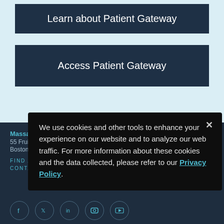Learn about Patient Gateway
Access Patient Gateway
Massachusetts General Hospital
55 Fruit Street
Boston, MA 02114
FIND A LOCATION ›
CONTACT US ›
We use cookies and other tools to enhance your experience on our website and to analyze our web traffic. For more information about these cookies and the data collected, please refer to our Privacy Policy.